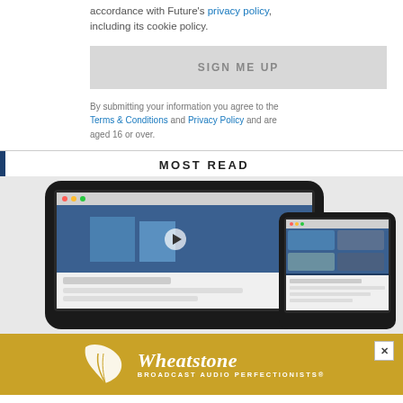accordance with Future's privacy policy, including its cookie policy.
SIGN ME UP
By submitting your information you agree to the Terms & Conditions and Privacy Policy and are aged 16 or over.
MOST READ
[Figure (photo): Two monitors/screens displaying a sports streaming website with football imagery, shown at an angle]
[Figure (infographic): Wheatstone Broadcast Audio Perfectionists advertisement banner in gold/yellow with white leaf logo and text]